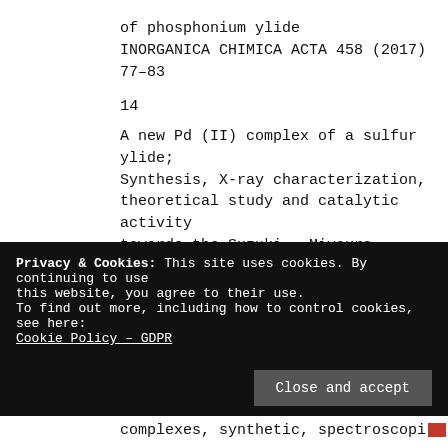of phosphonium ylide
INORGANICA CHIMICA ACTA 458 (2017) 77–83
14
A new Pd (II) complex of a sulfur ylide; Synthesis, X-ray characterization, theoretical study and catalytic activity towards the Suzuki – Miyaura reaction
POLYHEDRON 117 (2016) 273-282
15
Privacy & Cookies: This site uses cookies. By continuing to use this website, you agree to their use.
To find out more, including how to control cookies, see here:
Cookie Policy – GDPR
Close and accept
complexes, synthetic, spectroscopi…